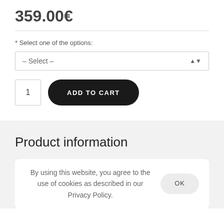359.00€
* Select one of the options:
– Select –
1
ADD TO CART
Product information
By using this website, you agree to the use of cookies as described in our Privacy Policy.
OK